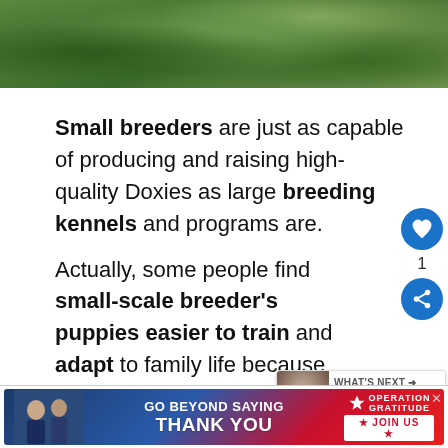[Figure (photo): Top portion of an outdoor photo showing green leafy plants and grass in shades of green and brown]
Small breeders are just as capable of producing and raising high-quality Doxies as large breeding kennels and programs are.
Actually, some people find small-scale breeder's puppies easier to train and adapt to family life because the owners can dedicate more time to each puppy.
The owner of Jersey's Blue Moon Doxies is
[Figure (infographic): Advertisement banner: GO BEYOND SAYING THANK YOU - Operation Gratitude JOIN US]